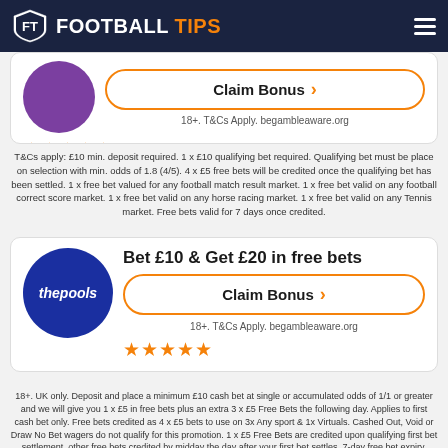FOOTBALL TIPS
[Figure (logo): Partially visible betting site card with purple circle logo, Claim Bonus button, 5 stars, 18+ T&Cs Apply. begambleaware.org]
T&Cs apply: £10 min. deposit required. 1 x £10 qualifying bet required. Qualifying bet must be place on selection with min. odds of 1.8 (4/5). 4 x £5 free bets will be credited once the qualifying bet has been settled. 1 x free bet valued for any football match result market. 1 x free bet valid on any football correct score market. 1 x free bet valid on any horse racing market. 1 x free bet valid on any Tennis market. Free bets valid for 7 days once credited.
[Figure (logo): thepools logo — white italic text on dark blue circle]
Bet £10 & Get £20 in free bets
Claim Bonus
18+. T&Cs Apply. begambleaware.org
18+. UK only. Deposit and place a minimum £10 cash bet at single or accumulated odds of 1/1 or greater and we will give you 1 x £5 in free bets plus an extra 3 x £5 Free Bets the following day. Applies to first cash bet only. Free bets credited as 4 x £5 bets to use on 3x Any sport & 1x Virtuals. Cashed Out, Void or Draw No Bet wagers do not qualify for this promotion. 1 x £5 Free Bets are credited upon qualifying first bet settlement, other free bets credited by midday the day after your first bet settles. 7-day free bet expiry. Available once per customer. This offer cannot be combined with any other promotion. Full T&C's apply.